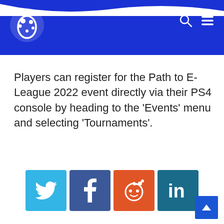Site header with logo and navigation icons
Players can register for the Path to E-League 2022 event directly via their PS4 console by heading to the ‘Events’ menu and selecting ‘Tournaments’.
[Figure (infographic): Social share buttons: Twitter (blue), Facebook (dark blue), Reddit (orange), LinkedIn (teal)]
PRODUCER  Nicholas Taifalos
[Figure (photo): Author photo of Andrew Wray, black and white portrait with cap]
Andrew Wray
One of Snowball’s founders,